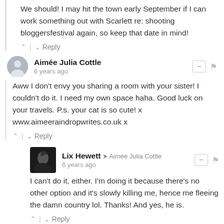We should! I may hit the town early September if I can work something out with Scarlett re: shooting bloggersfestival again, so keep that date in mind!
^ | v Reply
Aimée Julia Cottle
6 years ago
Aww I don't envy you sharing a room with your sister! I couldn't do it. I need my own space haha. Good luck on your travels. P.s. your cat is so cute! x www.aimeeraindropwrites.co.uk x
^ | v Reply
Lix Hewett → Aimée Julia Cottle
6 years ago
I can't do it, either. I'm doing it because there's no other option and it's slowly killing me, hence me fleeing the damn country lol. Thanks! And yes, he is.
^ | v Reply